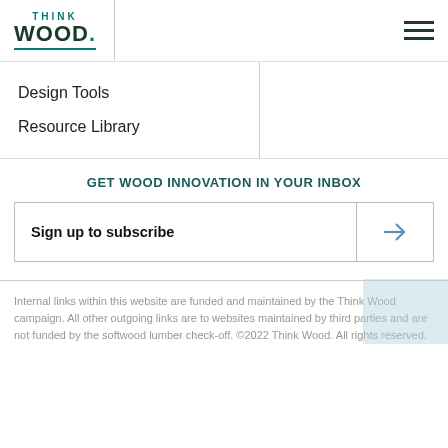[Figure (logo): Think Wood logo with teal THINK text above bold dark WOOD. text]
[Figure (other): Hamburger menu icon with three horizontal dark green lines]
Design Tools
Resource Library
GET WOOD INNOVATION IN YOUR INBOX
Sign up to subscribe
Internal links within this website are funded and maintained by the Think Wood campaign. All other outgoing links are to websites maintained by third parties and are not funded by the softwood lumber check-off. ©2022 Think Wood. All rights reserved.